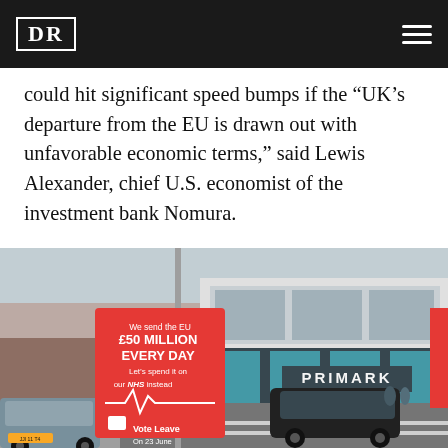DR
could hit significant speed bumps if the “UK’s departure from the EU is drawn out with unfavorable economic terms,” said Lewis Alexander, chief U.S. economist of the investment bank Nomura.
[Figure (photo): Street scene with a red Vote Leave campaign sign reading 'We send the EU £50 MILLION EVERY DAY Let’s spend it on our NHS instead Vote Leave On 23 June', with a Primark store and a SuperValu store in the background, and parked cars in the foreground.]